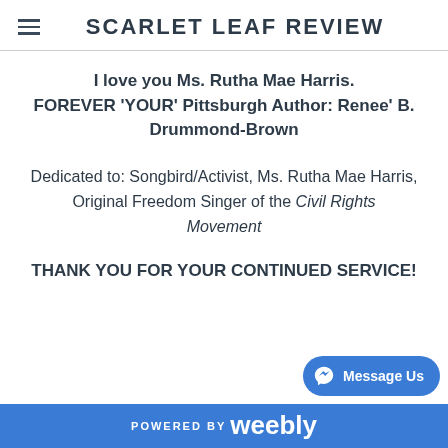SCARLET LEAF REVIEW
I love you Ms. Rutha Mae Harris. FOREVER 'YOUR' Pittsburgh Author: Renee' B. Drummond-Brown
Dedicated to: Songbird/Activist, Ms. Rutha Mae Harris, Original Freedom Singer of the Civil Rights Movement
THANK YOU FOR YOUR CONTINUED SERVICE!
POWERED BY weebly